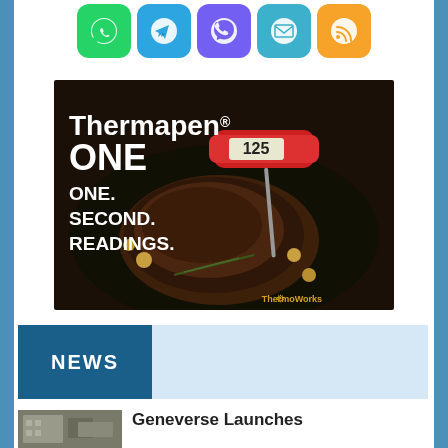[Figure (infographic): Row of 5 social/sharing app icons: WhatsApp (green), Telegram (blue), Viber (purple), Email (blue), RSS (orange)]
[Figure (photo): Thermapen ONE advertisement showing a red instant-read meat thermometer reading 125 degrees inserted into a steak in a cast iron pan, with text: Thermapen ONE. ONE. SECOND. READINGS. ThermoWorks logo.]
NEWS
[Figure (photo): Thumbnail photo of a building exterior]
Geneverse Launches